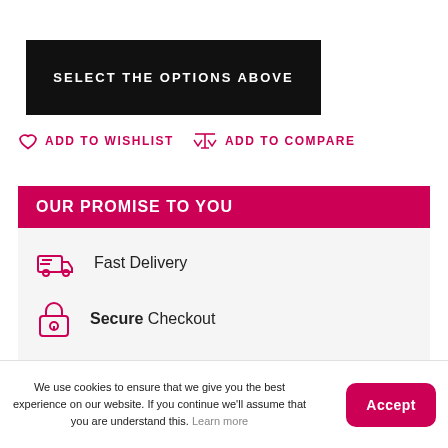SELECT THE OPTIONS ABOVE
ADD TO WISHLIST   ADD TO COMPARE
OUR PROMISE TO YOU
Fast Delivery
Secure Checkout
No Quibble Returns
We use cookies to ensure that we give you the best experience on our website. If you continue we'll assume that you are understand this. Learn more